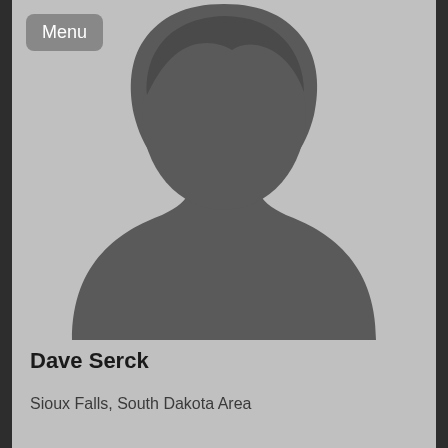Menu
[Figure (illustration): Default avatar silhouette — generic gray person outline (head, neck, shoulders) on a light gray background]
Dave Serck
Sioux Falls, South Dakota Area